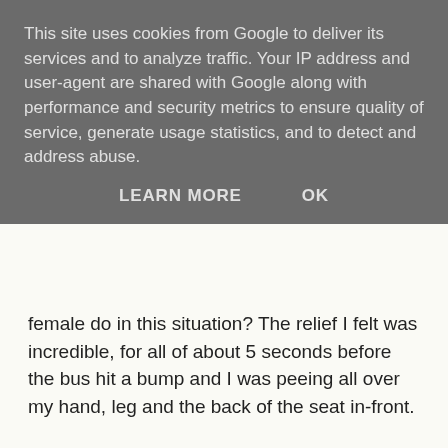This site uses cookies from Google to deliver its services and to analyze traffic. Your IP address and user-agent are shared with Google along with performance and security metrics to ensure quality of service, generate usage statistics, and to detect and address abuse.
LEARN MORE    OK
female do in this situation? The relief I felt was incredible, for all of about 5 seconds before the bus hit a bump and I was peeing all over my hand, leg and the back of the seat in-front.
After re-gaining my composure I quickly filled up the 500ml bottle before I was anywhere near done. Uh-oh. With one hand being used to temporary stop the flow and the other hand being used to hold the full bottle I was in a tricky situation.
As I sat there, on public transport, covered in dirt and sweat from the hike, penis in one hand and a hot bottle of yellow piss in the other, I was just happy that nobody could see me